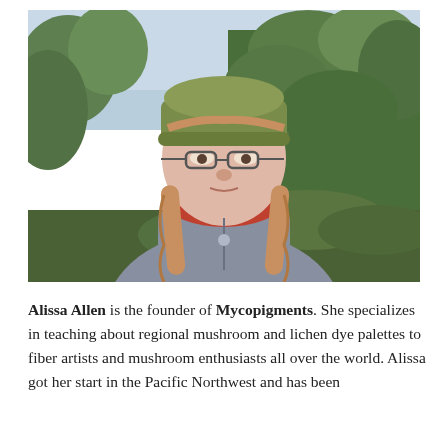[Figure (photo): A woman with braided hair, glasses, and a green knit hat, wearing a red scarf and gray jacket, standing outdoors in front of pine trees with a partly cloudy sky.]
Alissa Allen is the founder of Mycopigments. She specializes in teaching about regional mushroom and lichen dye palettes to fiber artists and mushroom enthusiasts all over the world. Alissa got her start in the Pacific Northwest and has been